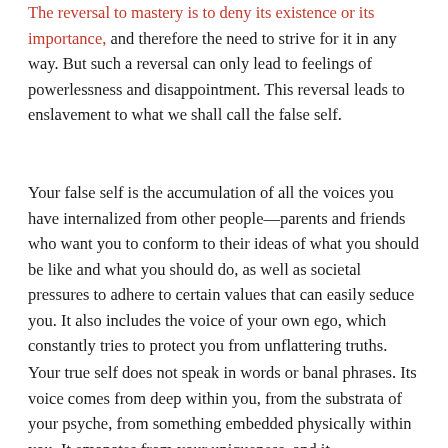The reversal to mastery is to deny its existence or its importance, and therefore the need to strive for it in any way. But such a reversal can only lead to feelings of powerlessness and disappointment. This reversal leads to enslavement to what we shall call the false self.
Your false self is the accumulation of all the voices you have internalized from other people—parents and friends who want you to conform to their ideas of what you should be like and what you should do, as well as societal pressures to adhere to certain values that can easily seduce you. It also includes the voice of your own ego, which constantly tries to protect you from unflattering truths.
Your true self does not speak in words or banal phrases. Its voice comes from deep within you, from the substrata of your psyche, from something embedded physically within you. It emanates from your uniqueness, and it communicates through sensations and powerful desires that seem to transcend you. You cannot ultimately understand why you are drawn to certain activities or forms of